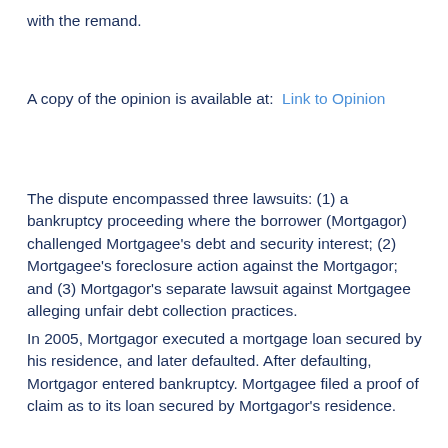with the remand.
A copy of the opinion is available at:  Link to Opinion
The dispute encompassed three lawsuits: (1) a bankruptcy proceeding where the borrower (Mortgagor) challenged Mortgagee's debt and security interest; (2) Mortgagee's foreclosure action against the Mortgagor; and (3) Mortgagor's separate lawsuit against Mortgagee alleging unfair debt collection practices.
In 2005, Mortgagor executed a mortgage loan secured by his residence, and later defaulted. After defaulting, Mortgagor entered bankruptcy. Mortgagee filed a proof of claim as to its loan secured by Mortgagor's residence.